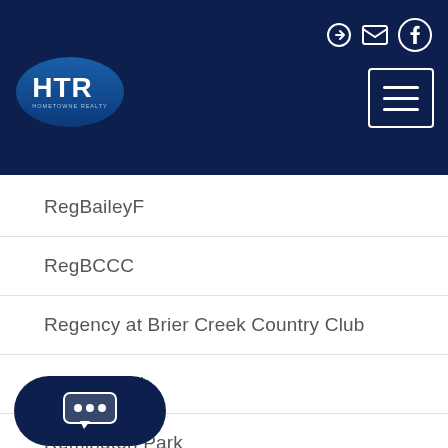[Figure (logo): HTR Hometowne Realty logo — white HTR text in a blue oval on a dark navy header background]
RegBaileyF
RegBCCC
Regency at Brier Creek Country Club
RemingtnPk
Remington Park
Renaissance Park
RibrookBlu